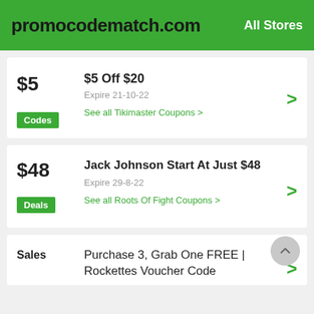promocodematch.com | All Stores
$5 | Codes | $5 Off $20 | Expire 21-10-22 | See all Tikimaster Coupons >
$48 | Deals | Jack Johnson Start At Just $48 | Expire 29-8-22 | See all Roots Of Fight Coupons >
Sales | Purchase 3, Grab One FREE | Rockettes Voucher Code